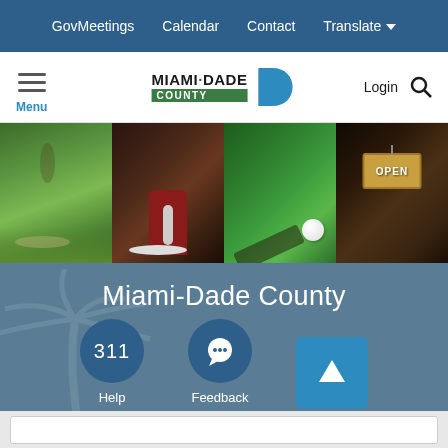GovMeetings  Calendar  Contact  Translate
[Figure (screenshot): Miami-Dade County website logo bar with hamburger menu, Miami-Dade County logo, Login and search icons]
[Figure (photo): Four-panel photo strip: park pathway, barber shop with red chair, golf club and ball on green, open sign on storefront]
Miami-Dade County
[Figure (infographic): 311 Help circle button and Feedback speech bubble circle button, with blue up-arrow square button]
Help
Feedback